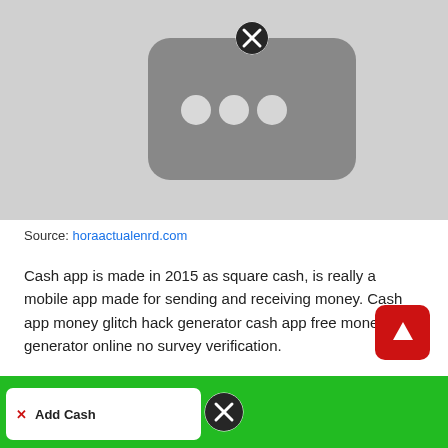[Figure (screenshot): Screenshot showing a mobile UI overlay with a dark rounded-rectangle card containing three white dots, and a circular close (X) button at the top center. Background is light gray.]
Source: horaactualenrd.com
Cash app is made in 2015 as square cash, is really a mobile app made for sending and receiving money. Cash app money glitch hack generator cash app free money generator online no survey verification.
[Figure (screenshot): Bottom green bar showing a white 'Add Cash' input area with a red X icon and a circular close button in the center of the green bar.]